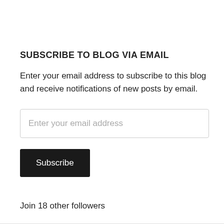SUBSCRIBE TO BLOG VIA EMAIL
Enter your email address to subscribe to this blog and receive notifications of new posts by email.
Enter your email address
Subscribe
Join 18 other followers